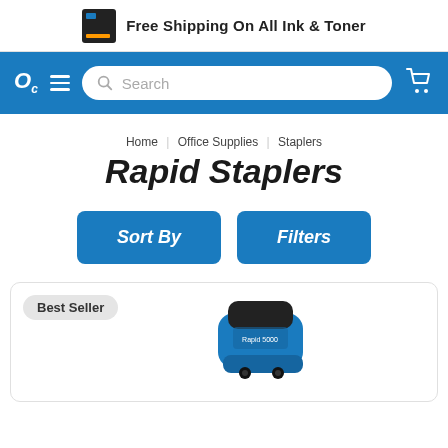Free Shipping On All Ink & Toner
[Figure (screenshot): Navigation bar with logo, hamburger menu, search bar, and cart icon on blue background]
Home | Office Supplies | Staplers
Rapid Staplers
Sort By    Filters
[Figure (photo): Blue stapler product photo with Best Seller badge]